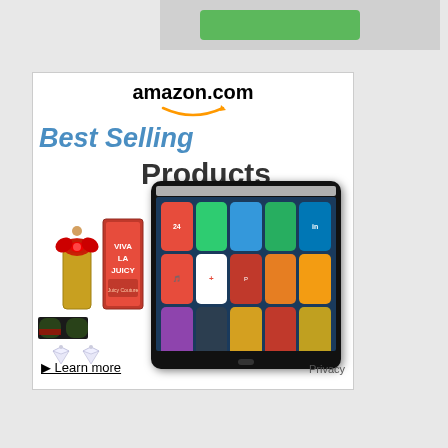[Figure (screenshot): Partial top banner showing a grey area with a green button, cropped at top of page]
[Figure (advertisement): Amazon.com Best Selling Products advertisement banner featuring Amazon logo with orange arrow smile, 'Best Selling' in blue italic text, 'Products' in dark text, illustrated products (perfume with bow, Viva La Juicy box, sunglasses, diamond earrings), Kindle Fire HDX tablet showing app grid, 'Learn more' link, and 'Privacy' text in bottom right corner]